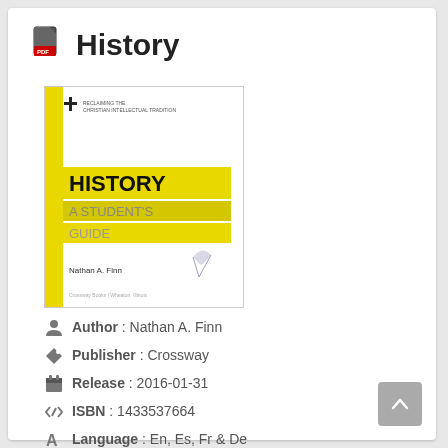History
[Figure (illustration): Book cover of 'History: A Student's Guide' by Nathan A. Finn, published by Crossway. Yellow and white cover with bold 'HISTORY' text and subtitle 'A STUDENT'S GUIDE'.]
Author : Nathan A. Finn
Publisher : Crossway
Release : 2016-01-31
ISBN : 1433537664
Language : En, Es, Fr & De